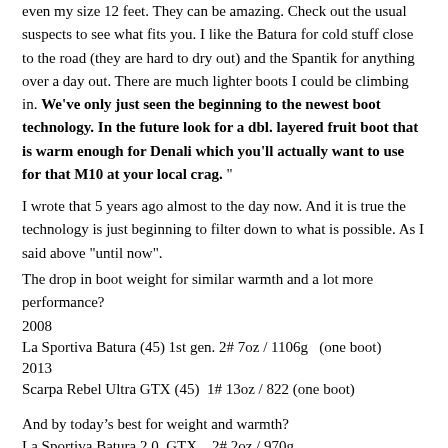even my size 12 feet. They can be amazing. Check out the usual suspects to see what fits you. I like the Batura for cold stuff close to the road (they are hard to dry out) and the Spantik for anything over a day out. There are much lighter boots I could be climbing in. We've only just seen the beginning to the newest boot technology. In the future look for a dbl. layered fruit boot that is warm enough for Denali which you'll actually want to use for that M10 at your local crag. "
I wrote that 5 years ago almost to the day now.  And it is true the technology is just beginning to filter down to what is possible.  As I said above "until now".
The drop in boot weight for similar warmth and a lot more performance?
2008
La Sportiva Batura (45) 1st gen. 2# 7oz / 1106g   (one boot)
2013
Scarpa Rebel Ultra GTX (45)  1# 13oz / 822 (one boot)
And by today’s best for weight and warmth?
La Sportiva Batura 2.0  GTX   2# 2oz / 970g